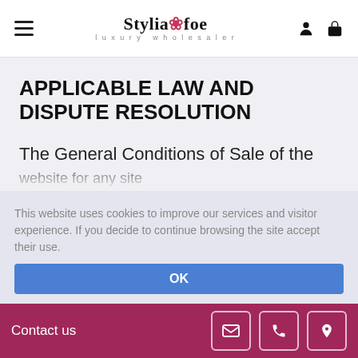Styliasfoe luxury wholesaler
APPLICABLE LAW AND DISPUTE RESOLUTION
The General Conditions of Sale of the
This website uses cookies to improve our services and visitor experience. If you decide to continue browsing the site accept their use.
Contact us